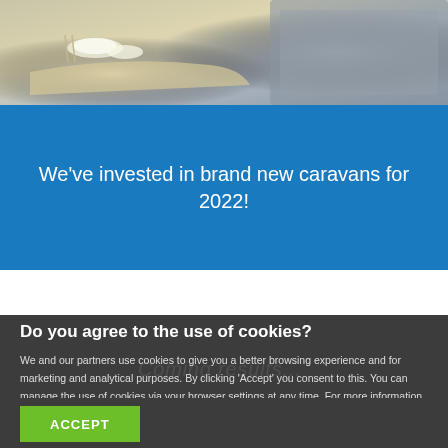[Figure (photo): Close-up photo of a caravan interior showing a wooden side table with dishes and cutlery, and a grey upholstered sofa seat]
We’ve invested in brand new caravans for 2022!
Do you agree to the use of cookies?
We and our partners use cookies to give you a better browsing experience and for marketing and analytical purposes. By clicking ‘Accept’ you consent to this. You can manage the use of cookies via your browser settings at any time. For more information please see our Cookie Policy
ACCEPT